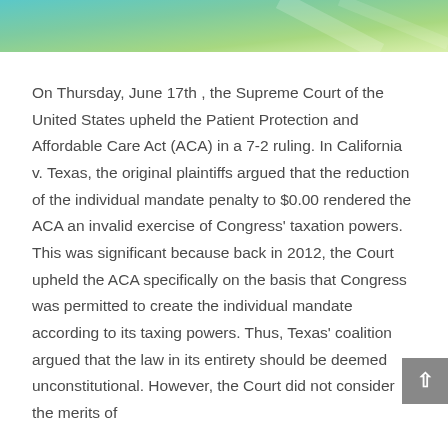[Figure (illustration): Decorative gradient header banner with teal, green, and blue colors fading across the top of the page]
On Thursday, June 17th , the Supreme Court of the United States upheld the Patient Protection and Affordable Care Act (ACA) in a 7-2 ruling. In California v. Texas, the original plaintiffs argued that the reduction of the individual mandate penalty to $0.00 rendered the ACA an invalid exercise of Congress' taxation powers. This was significant because back in 2012, the Court upheld the ACA specifically on the basis that Congress was permitted to create the individual mandate according to its taxing powers. Thus, Texas' coalition argued that the law in its entirety should be deemed unconstitutional. However, the Court did not consider the merits of